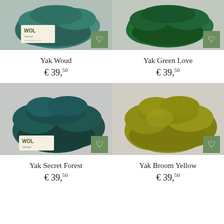[Figure (photo): Skeins of teal/green Yak Woud yarn with WOL brand label and green heart favorite button]
Yak Woud
€ 39,50
[Figure (photo): Skeins of dark green Yak Green Love yarn with green heart favorite button]
Yak Green Love
€ 39,50
[Figure (photo): Skeins of dark teal Yak Secret Forest yarn with WOL brand label and green heart favorite button]
Yak Secret Forest
€ 39,50
[Figure (photo): Skeins of olive/yellow Yak Broom Yellow yarn with green heart favorite button]
Yak Broom Yellow
€ 39,50